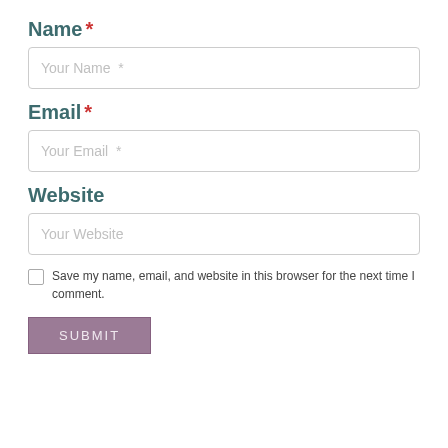Name *
[Figure (screenshot): Text input field with placeholder text 'Your Name *']
Email *
[Figure (screenshot): Text input field with placeholder text 'Your Email *']
Website
[Figure (screenshot): Text input field with placeholder text 'Your Website']
Save my name, email, and website in this browser for the next time I comment.
SUBMIT